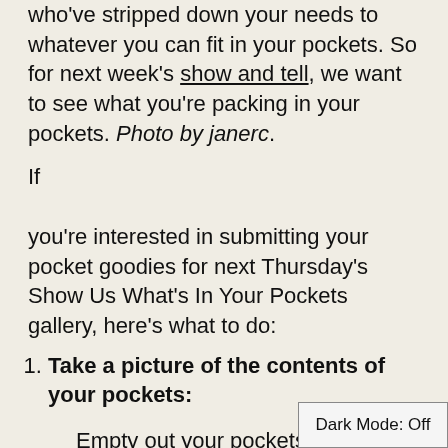who've stripped down your needs to whatever you can fit in your pockets. So for next week's show and tell, we want to see what you're packing in your pockets. Photo by janerc.
If you're interested in submitting your pocket goodies for next Thursday's Show Us What's In Your Pockets gallery, here's what to do:
Take a picture of the contents of your pockets:
Empty out your pockets and
Dark Mode: Off